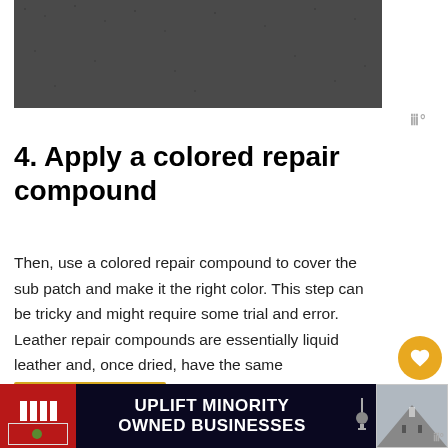[Figure (photo): #ViralKindness banner image with dark textured background and white bold italic text]
4. Apply a colored repair compound
Then, use a colored repair compound to cover the sub patch and make it the right color. This step can be tricky and might require some trial and error. Leather repair compounds are essentially liquid leather and, once dried, have the same consistency as leather.
[Figure (screenshot): WHAT'S NEXT panel showing thumbnail and text 'How To Fix A Cracked...']
[Figure (screenshot): Bottom advertisement: UPLIFT MINORITY OWNED BUSINESSES on dark background]